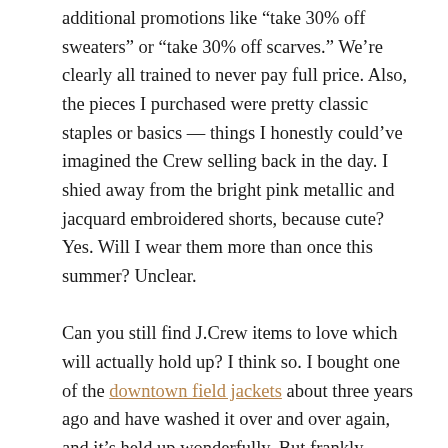additional promotions like “take 30% off sweaters” or “take 30% off scarves.” We’re clearly all trained to never pay full price. Also, the pieces I purchased were pretty classic staples or basics — things I honestly could’ve imagined the Crew selling back in the day. I shied away from the bright pink metallic and jacquard embroidered shorts, because cute? Yes. Will I wear them more than once this summer? Unclear.

Can you still find J.Crew items to love which will actually hold up? I think so. I bought one of the downtown field jackets about three years ago and have washed it over and over again, and it’s held up wonderfully. But frankly, worrying about items holding up is issue #2. For me, it’s all about fit. I can’t ever trust